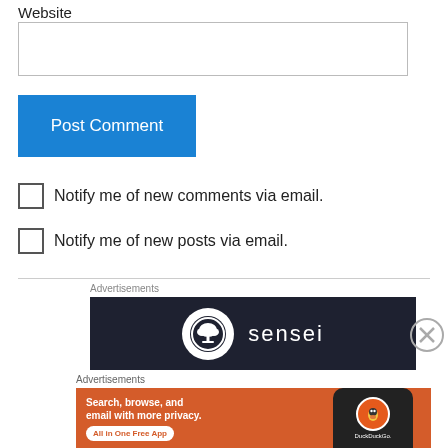Website
Post Comment
Notify me of new comments via email.
Notify me of new posts via email.
Advertisements
[Figure (illustration): Sensei advertisement banner with dark navy background, showing the Sensei logo (bonsai tree in white circle) and 'sensei' text in white]
Advertisements
[Figure (illustration): DuckDuckGo advertisement on orange background: 'Search, browse, and email with more privacy. All in One Free App' with a phone showing the DuckDuckGo duck logo]